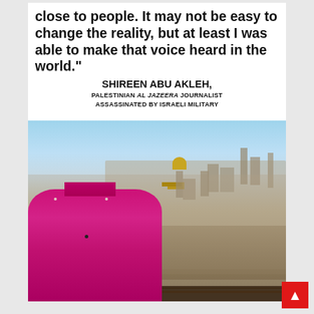[Figure (photo): Memorial image of Shireen Abu Akleh, Palestinian Al Jazeera journalist, with a quote overlay on a white background at top and her photo below showing her in a magenta/pink top with the Jerusalem cityscape behind her including the Dome of the Rock. Text reads: 'close to people. It may not be easy to change the reality, but at least I was able to make that voice heard in the world.' Attribution: SHIREEN ABU AKLEH, PALESTINIAN AL JAZEERA JOURNALIST ASSASSINATED BY ISRAELI MILITARY. A red scroll-to-top button appears in the bottom right corner.]